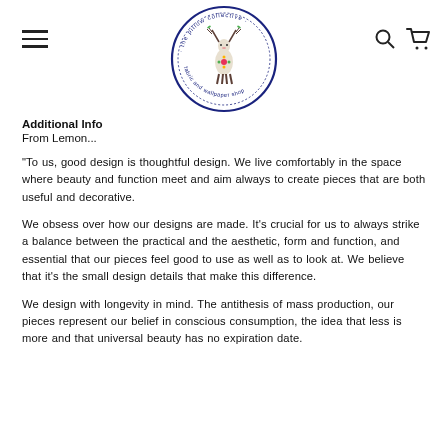[Figure (logo): The Pillow Collective fabric and wallpaper shop circular logo with illustrated deer and floral elements in navy blue border]
Additional Info
From Lemon...
"To us, good design is thoughtful design. We live comfortably in the space where beauty and function meet and aim always to create pieces that are both useful and decorative.
We obsess over how our designs are made. It’s crucial for us to always strike a balance between the practical and the aesthetic, form and function, and essential that our pieces feel good to use as well as to look at. We believe that it’s the small design details that make this difference.
We design with longevity in mind. The antithesis of mass production, our pieces represent our belief in conscious consumption, the idea that less is more and that universal beauty has no expiration date.